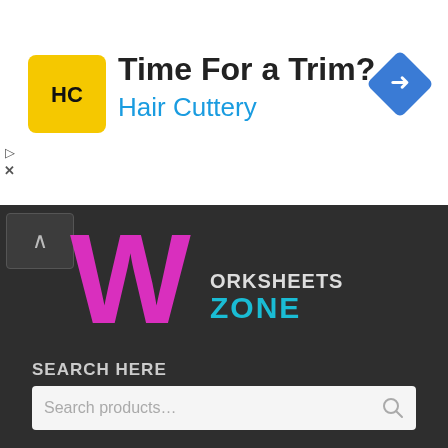[Figure (screenshot): Advertisement banner for Hair Cuttery with logo, text 'Time For a Trim?' and 'Hair Cuttery', and a blue navigation arrow icon on the right]
[Figure (logo): Worksheets Zone logo with large pink/magenta W and text 'WORKSHEETS ZONE']
SEARCH HERE
Search products...
CONTACT US:
kidsfunlearningsc@gmail.com
Follow us